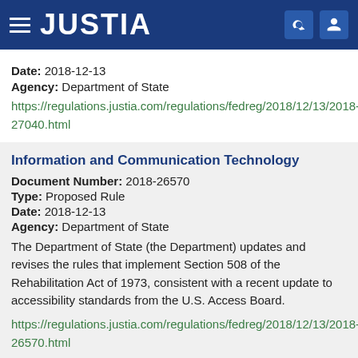JUSTIA
Date: 2018-12-13
Agency: Department of State
https://regulations.justia.com/regulations/fedreg/2018/12/13/2018-27040.html
Information and Communication Technology
Document Number: 2018-26570
Type: Proposed Rule
Date: 2018-12-13
Agency: Department of State
The Department of State (the Department) updates and revises the rules that implement Section 508 of the Rehabilitation Act of 1973, consistent with a recent update to accessibility standards from the U.S. Access Board.
https://regulations.justia.com/regulations/fedreg/2018/12/13/2018-26570.html